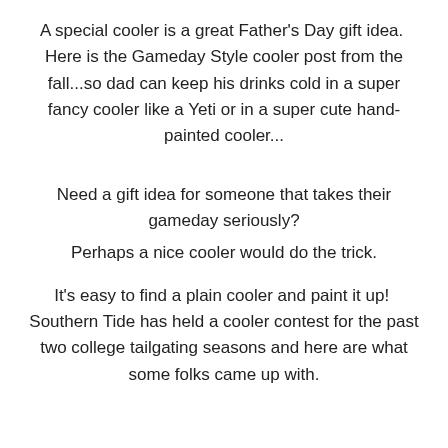A special cooler is a great Father's Day gift idea.  Here is the Gameday Style cooler post from the fall...so dad can keep his drinks cold in a super fancy cooler like a Yeti or in a super cute hand-painted cooler...
Need a gift idea for someone that takes their gameday seriously?
Perhaps a nice cooler would do the trick.
It's easy to find a plain cooler and paint it up!  Southern Tide has held a cooler contest for the past two college tailgating seasons and here are what some folks came up with.